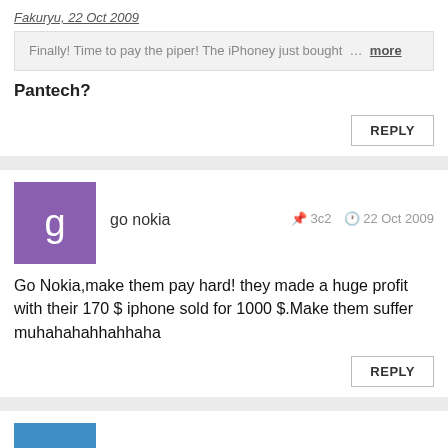Fakuryu, 22 Oct 2009
Finally! Time to pay the piper! The iPhoney just bought … more
Pantech?
REPLY
go nokia  3c2  22 Oct 2009
Go Nokia,make them pay hard! they made a huge profit with their 170 $ iphone sold for 1000 $.Make them suffer muhahahahhahhaha
REPLY
Anonymous  qBx  22 Oct 2009